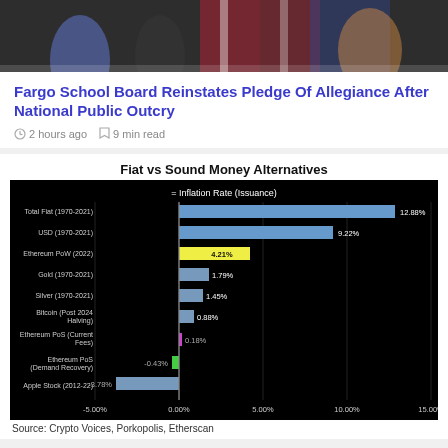[Figure (photo): Top portion of a photo showing people with American flags in the background]
Fargo School Board Reinstates Pledge Of Allegiance After National Public Outcry
2 hours ago   9 min read
[Figure (bar-chart): Fiat vs Sound Money Alternatives]
Source: Crypto Voices, Porkopolis, Etherscan